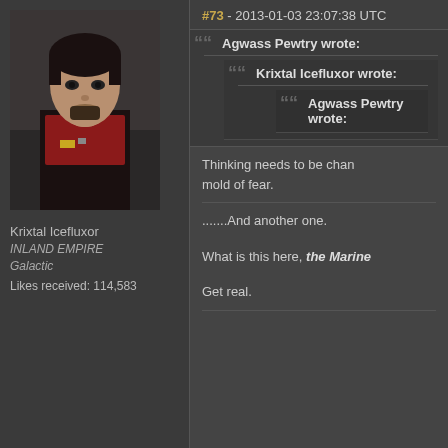[Figure (photo): Avatar/profile image of a male character in dark sci-fi attire with red accents, dark background]
Krixtal Icefluxor
INLAND EMPIRE
Galactic
Likes received: 114,583
#73 - 2013-01-03 23:07:38 UTC
Agwass Pewtry wrote:
Krixtal Icefluxor wrote:
Agwass Pewtry wrote:
Thinking needs to be changed from the mold of fear.
.......And another one.
What is this here, the Marine
Get real.